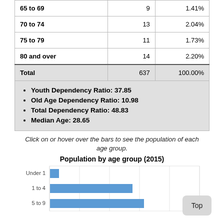| Age Group | Count | Percentage |
| --- | --- | --- |
| 65 to 69 | 9 | 1.41% |
| 70 to 74 | 13 | 2.04% |
| 75 to 79 | 11 | 1.73% |
| 80 and over | 14 | 2.20% |
| Total | 637 | 100.00% |
Youth Dependency Ratio: 37.85
Old Age Dependency Ratio: 10.98
Total Dependency Ratio: 48.83
Median Age: 28.65
Click on or hover over the bars to see the population of each age group.
Population by age group (2015)
[Figure (bar-chart): Population by age group (2015)]